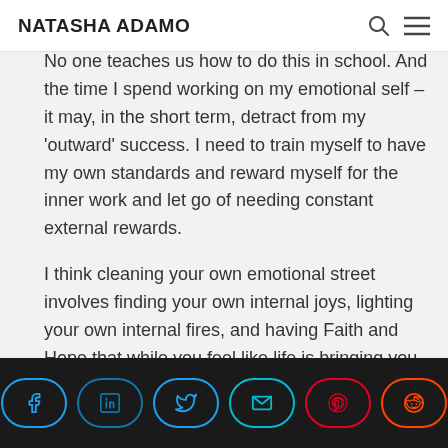NATASHA ADAMO
No one teaches us how to do this in school. And the time I spend working on my emotional self – it may, in the short term, detract from my 'outward' success. I need to train myself to have my own standards and reward myself for the inner work and let go of needing constant external rewards.
I think cleaning your own emotional street involves finding your own internal joys, lighting your own internal fires, and having Faith and Hope that while you feel like life is bringing you blow after
Share buttons: Facebook, LinkedIn, Twitter, Email, Pinterest, Reddit